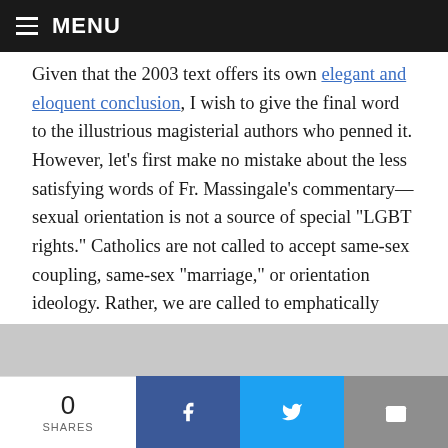MENU
Given that the 2003 text offers its own elegant and eloquent conclusion, I wish to give the final word to the illustrious magisterial authors who penned it. However, let’s first make no mistake about the less satisfying words of Fr. Massingale’s commentary—sexual orientation is not a source of special “LGBT rights.” Catholics are not called to accept same-sex coupling, same-sex “marriage,” or orientation ideology. Rather, we are called to emphatically oppose and avoid cooperating either materially or remotely in the unjust laws that confront us, even as we show respect, compassion, and sensitivity to every person with
0 SHARES